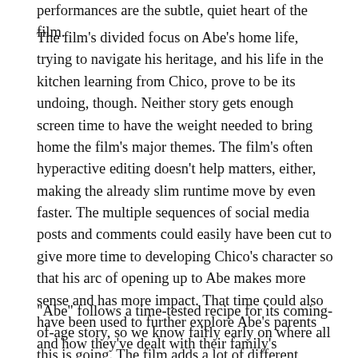performances are the subtle, quiet heart of the film.
The film's divided focus on Abe's home life, trying to navigate his heritage, and his life in the kitchen learning from Chico, prove to be its undoing, though. Neither story gets enough screen time to have the weight needed to bring home the film's major themes. The film's often hyperactive editing doesn't help matters, either, making the already slim runtime move by even faster. The multiple sequences of social media posts and comments could easily have been cut to give more time to developing Chico's character so that his arc of opening up to Abe makes more sense and has more impact. That time could also have been used to further explore Abe's parents and how they've dealt with their family's animosity towards each other, or to turn Abe's school bully into an actual character instead of just a few mean internet comments. Or... or... or... the possibilities are endless.
"Abe" follows a time-tested recipe for its coming-of-age story, so we know fairly early on where all this is going. The film adds a lot of different elements in an attempt to spice it up, but it doesn't